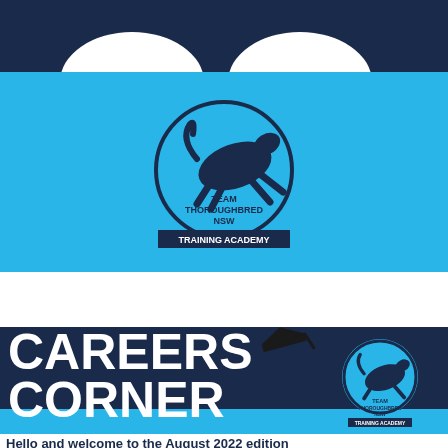[Figure (logo): Top dark navy bar with two white oval shapes at the top]
[Figure (logo): Team Thoroughbred NSW Training Academy logo on light blue background — silhouette of jumping horse in circle with text TEAM THOROUGHBRED NSW TRAINING ACADEMY]
CAREERS CORNER
[Figure (logo): Team Thoroughbred NSW Training Academy small logo with graduation cap graphic]
A Team Thoroughbred NSW Training Academy Monthly E-Newsletter
Hello and welcome to the August 2022 edition